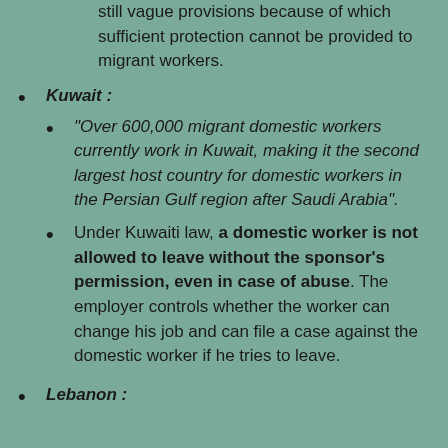still vague provisions because of which sufficient protection cannot be provided to migrant workers.
Kuwait :
"Over 600,000 migrant domestic workers currently work in Kuwait, making it the second largest host country for domestic workers in the Persian Gulf region after Saudi Arabia".
Under Kuwaiti law, a domestic worker is not allowed to leave without the sponsor's permission, even in case of abuse. The employer controls whether the worker can change his job and can file a case against the domestic worker if he tries to leave.
Lebanon :